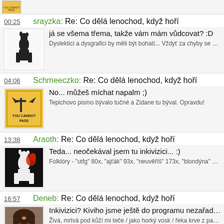You Cannot Pass [image]
00:25  srayzka: Re: Co dělá lenochod, když hoří
já se všema třema, takže vám mám vůdcovat? :D
Dyslektici a dysgrafici by měli být bohatí... Vždyť za chyby se platí...
04:06  Schmeeczko: Re: Co dělá lenochod, když hoří
No... můžeš míchat napalm ;)
Tepichovo pismo bývalo tučné a Zidane tu býval. Opravdu!
13:38  Araoth: Re: Co dělá lenochod, když hoří
Teda... neočekával jsem tu inkivizici... :)
Folklóry - "utfg" 80x, "ajťák" 93x, "neuvěříš" 173x, "blondýna" 201x, "lamer/a" 937x
16:57  Deneb: Re: Co dělá lenochod, když hoří
Inkivizici? Kiviho jsme ještě do programu nezařadili. Ale kd
Živá, mrtvá pod kůží mi teče / jako horký vosk / řeka krve z parafi